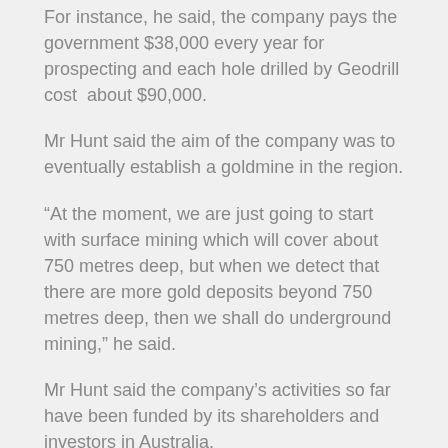For instance, he said, the company pays the government $38,000 every year for prospecting and each hole drilled by Geodrill cost  about $90,000.
Mr Hunt said the aim of the company was to eventually establish a goldmine in the region.
“At the moment, we are just going to start with surface mining which will cover about 750 metres deep, but when we detect that there are more gold deposits beyond 750 metres deep, then we shall do underground mining,” he said.
Mr Hunt said the company’s activities so far have been funded by its shareholders and investors in Australia.
Misconception